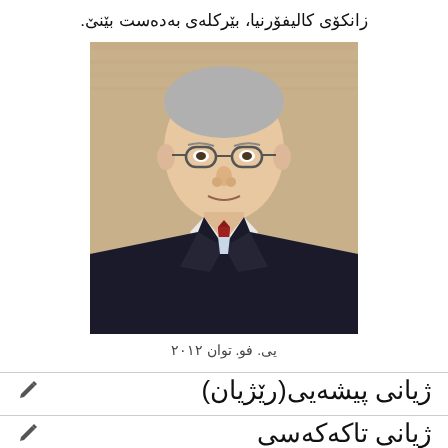زانکۆی کالیفۆرنیا، بێرکلەی بەدەست بێنێ.
[Figure (photo): Portrait photo of an elderly East Asian man wearing glasses, a dark suit and red tie, seated in front of a wooden paneled background.]
یی. فو. توان ۲۰۱۲
ژیانی پیشەیی(رێژیان)
ژیانی تاکەکەسی